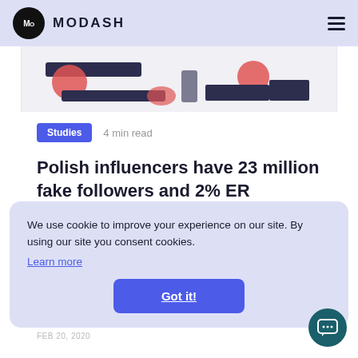MODASH
[Figure (illustration): Partial illustration showing decorative graphic elements (pencils, red circles, dark shapes) at the bottom of an article card]
Studies   4 min read
Polish influencers have 23 million fake followers and 2% ER
We use cookie to improve your experience on our site. By using our site you consent cookies. Learn more
Got it!
FEB 20, 2020